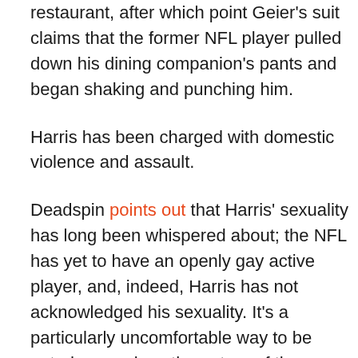restaurant, after which point Geier's suit claims that the former NFL player pulled down his dining companion's pants and began shaking and punching him.
Harris has been charged with domestic violence and assault.
Deadspin points out that Harris' sexuality has long been whispered about; the NFL has yet to have an openly gay active player, and, indeed, Harris has not acknowledged his sexuality. It's a particularly uncomfortable way to be outed -- as, given the nature of the incident, there's no skating around whether or not Geier or Harris might have been "friends." (It's rather akin to the allegations against John Travolta last year, in which lawsuits against the star by male